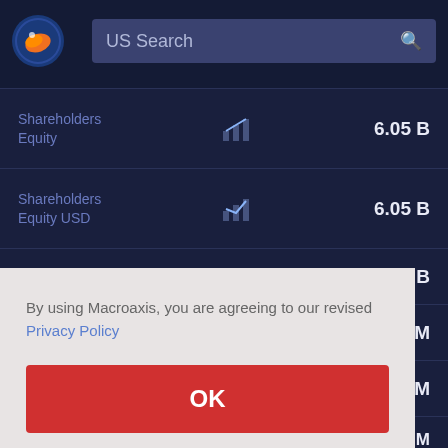[Figure (screenshot): Macroaxis logo — orange and blue globe icon]
US Search
| Metric |  | Value |
| --- | --- | --- |
| Shareholders Equity |  | 6.05 B |
| Shareholders Equity USD |  | 6.05 B |
|  |  | .08 B |
|  |  | 98 M |
|  |  | 46 M |
| Investments |  | 182.13 M |
By using Macroaxis, you are agreeing to our revised Privacy Policy
OK